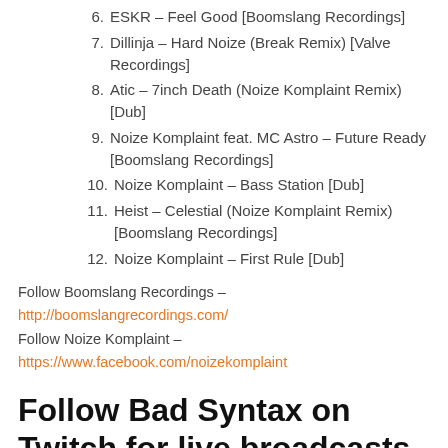6. ESKR – Feel Good [Boomslang Recordings]
7. Dillinja – Hard Noize (Break Remix) [Valve Recordings]
8. Atic – 7inch Death (Noize Komplaint Remix) [Dub]
9. Noize Komplaint feat. MC Astro – Future Ready [Boomslang Recordings]
10. Noize Komplaint – Bass Station [Dub]
11. Heist – Celestial (Noize Komplaint Remix) [Boomslang Recordings]
12. Noize Komplaint – First Rule [Dub]
Follow Boomslang Recordings – http://boomslangrecordings.com/
Follow Noize Komplaint –
https://www.facebook.com/noizekomplaint
Follow Bad Syntax on Twitch for live broadcasts
twitch.tv/badsyntaxdnb